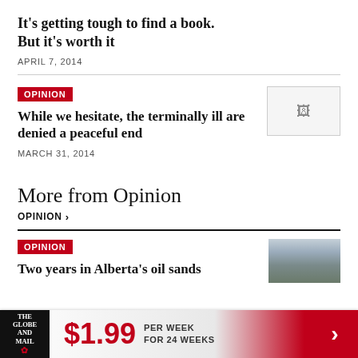It’s getting tough to find a book. But it’s worth it
APRIL 7, 2014
OPINION
While we hesitate, the terminally ill are denied a peaceful end
MARCH 31, 2014
More from Opinion
OPINION ›
OPINION
Two years in Alberta’s oil sands
$1.99 PER WEEK FOR 24 WEEKS